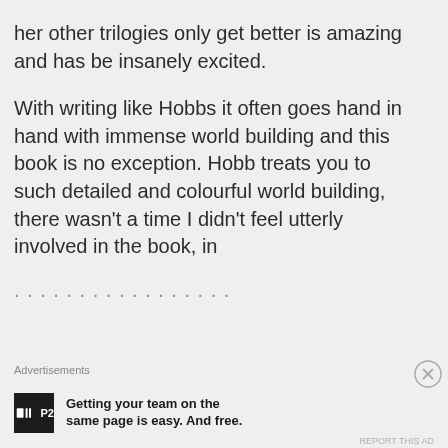stunningly written, and being told her other trilogies only get better is amazing and has be insanely excited.
With writing like Hobbs it often goes hand in hand with immense world building and this book is no exception. Hobb treats you to such detailed and colourful world building, there wasn't a time I didn't feel utterly involved in the book, in
Advertisements
[Figure (other): P2 advertisement banner with P2 logo and text: Getting your team on the same page is easy. And free.]